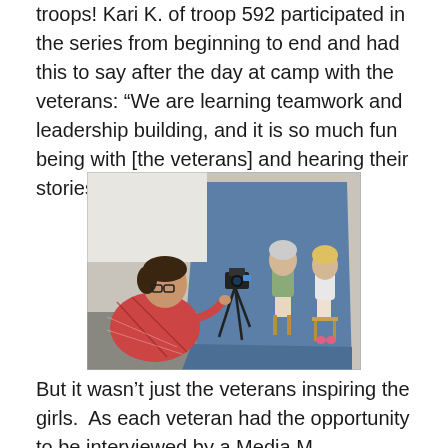troops! Kari K. of troop 592 participated in the series from beginning to end and had this to say after the day at camp with the veterans: “We are learning teamwork and leadership building, and it is so much fun being with [the veterans] and hearing their stories. It’s inspiring.”
[Figure (photo): A man with glasses wearing a plaid shirt operates a camera on a tripod in a photography studio. In the background, two women are seated in front of a blue fabric backdrop, appearing to be in an interview setup.]
But it wasn’t just the veterans inspiring the girls.  As each veteran had the opportunity to be interviewed by a Media M...